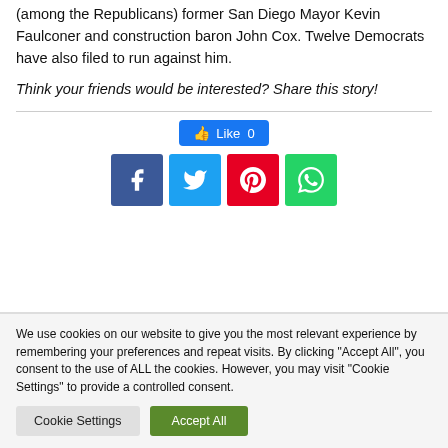(among the Republicans) former San Diego Mayor Kevin Faulconer and construction baron John Cox. Twelve Democrats have also filed to run against him.
Think your friends would be interested? Share this story!
[Figure (other): Facebook Like button showing 0 likes, and four social share buttons: Facebook, Twitter, Pinterest, WhatsApp]
We use cookies on our website to give you the most relevant experience by remembering your preferences and repeat visits. By clicking "Accept All", you consent to the use of ALL the cookies. However, you may visit "Cookie Settings" to provide a controlled consent.